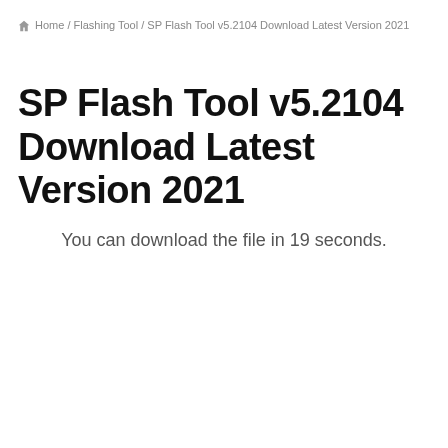Home / Flashing Tool / SP Flash Tool v5.2104 Download Latest Version 2021
SP Flash Tool v5.2104 Download Latest Version 2021
You can download the file in 19 seconds.